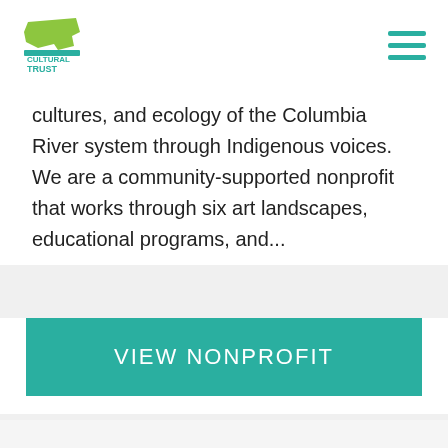Oregon Cultural Trust
cultures, and ecology of the Columbia River system through Indigenous voices. We are a community-supported nonprofit that works through six art landscapes, educational programs, and...
VIEW NONPROFIT
[Figure (illustration): Placeholder image icon showing stacked photo frames with mountain and sun silhouette in gray]